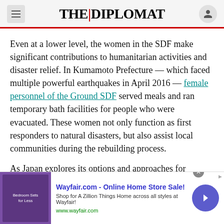THE DIPLOMAT
Even at a lower level, the women in the SDF make significant contributions to humanitarian activities and disaster relief. In Kumamoto Prefecture — which faced multiple powerful earthquakes in April 2016 — female personnel of the Ground SDF served meals and ran temporary bath facilities for people who were evacuated. These women not only function as first responders to natural disasters, but also assist local communities during the rebuilding process.
As Japan explores its options and approaches for
[Figure (screenshot): Advertisement banner for Wayfair.com - Online Home Store Sale! with product image showing bedroom sets, ad text, and navigation arrow.]